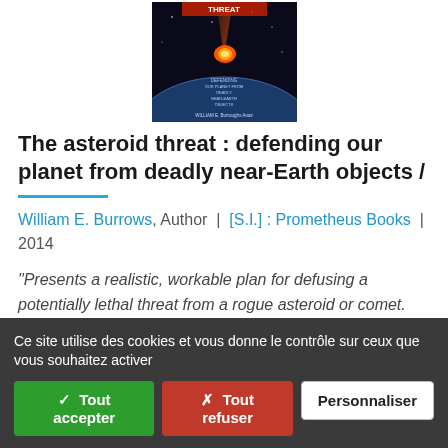[Figure (photo): Book cover of 'The asteroid threat: defending our planet from deadly near-Earth objects' by William E. Burrows, showing a meteor/asteroid falling toward Earth against a dark background.]
The asteroid threat : defending our planet from deadly near-Earth objects /
William E. Burrows, Author | [S.I.] : Prometheus Books | 2014
"Presents a realistic, workable plan for defusing a potentially lethal threat from a rogue asteroid or comet. The explosion of a large meteor over Chelyabinsk, Siberia, in February 2013 is just the latest reminder that planet Earth is vulnerabl[...]
Ce site utilise des cookies et vous donne le contrôle sur ceux que vous souhaitez activer
✓ Tout accepter
✗ Tout refuser
Personnaliser